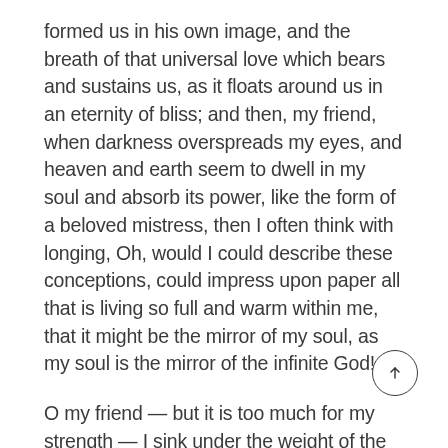formed us in his own image, and the breath of that universal love which bears and sustains us, as it floats around us in an eternity of bliss; and then, my friend, when darkness overspreads my eyes, and heaven and earth seem to dwell in my soul and absorb its power, like the form of a beloved mistress, then I often think with longing, Oh, would I could describe these conceptions, could impress upon paper all that is living so full and warm within me, that it might be the mirror of my soul, as my soul is the mirror of the infinite God!
O my friend — but it is too much for my strength — I sink under the weight of the splendor of these visions! A wonderful serenity has taken possession of my entire soul, like these sweet mornings of spring which I enjoy with my whole heart. I am alone, and feel the